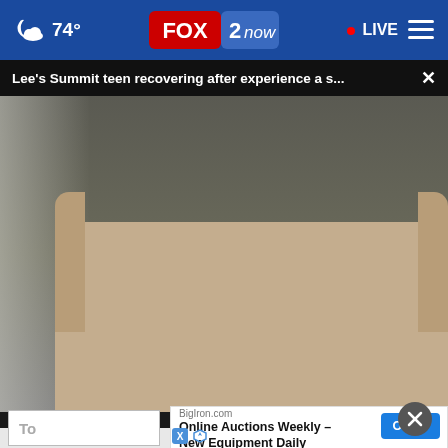74° FOX 2 now · LIVE
Lee's Summit teen recovering after experience a s...
[Figure (photo): A teenage boy smiling, sitting on a beige couch/armchair in a living room, wearing an orange t-shirt. A stuffed animal is visible at the lower left. A play button is visible on the left side of the video frame.]
To
BigIron.com
Online Auctions Weekly – New Equipment Daily
OPEN